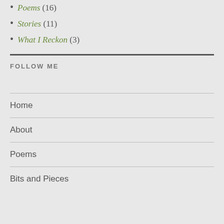Poems (16)
Stories (11)
What I Reckon (3)
FOLLOW ME
Home
About
Poems
Bits and Pieces